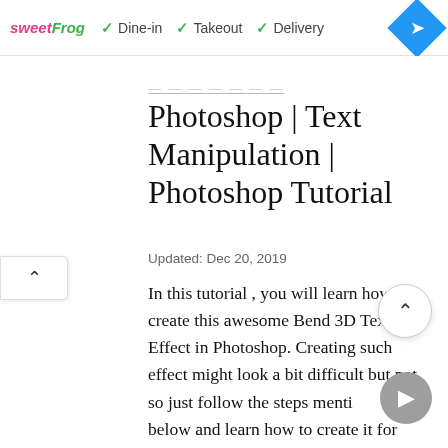[Figure (screenshot): Ad banner showing sweetFrog logo with Dine-in, Takeout, Delivery checkmarks and a blue navigation diamond icon]
Photoshop | Text Manipulation | Photoshop Tutorial
Updated: Dec 20, 2019
In this tutorial , you will learn how to create this awesome Bend 3D Text Effect in Photoshop. Creating such effect might look a bit difficult but not so just follow the steps mentioned below and learn how to create it for yourself . So let's  get started!